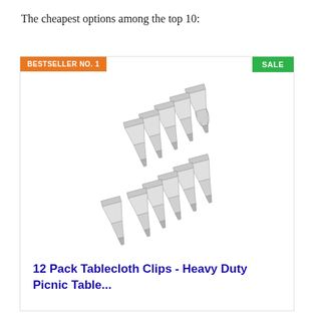The cheapest options among the top 10:
[Figure (photo): Product card showing 12 stainless steel tablecloth clips arranged in two diagonal rows, with a BESTSELLER NO. 1 badge in orange on the top left and a SALE badge in green on the top right.]
12 Pack Tablecloth Clips - Heavy Duty Picnic Table...
$7.91